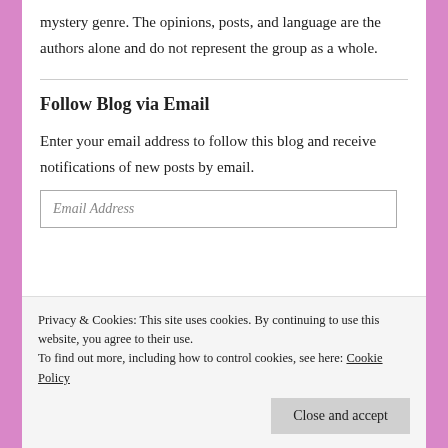mystery genre. The opinions, posts, and language are the authors alone and do not represent the group as a whole.
Follow Blog via Email
Enter your email address to follow this blog and receive notifications of new posts by email.
Email Address
Privacy & Cookies: This site uses cookies. By continuing to use this website, you agree to their use.
To find out more, including how to control cookies, see here: Cookie Policy
Close and accept
Join 4,236 other followers